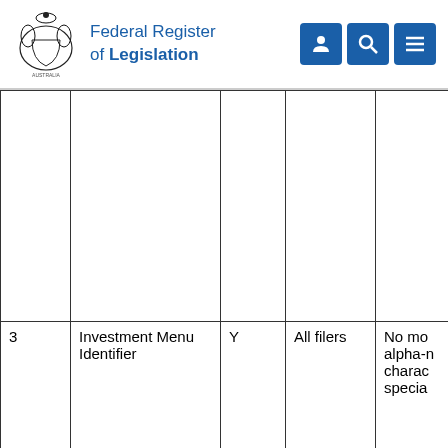Federal Register of Legislation
|  |  |  |  |  |
| 3 | Investment Menu Identifier | Y | All filers | No mo alpha-n charac specia |